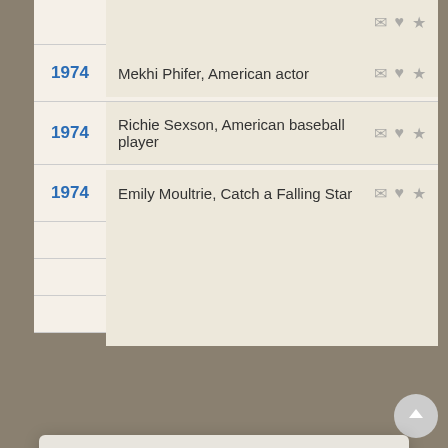1974 — Mekhi Phifer, American actor
1974 — Richie Sexson, American baseball player
1974 — Emily Moultrie, Catch a Falling Star
We use cookies to understand how you use our site and to improve your experience. This includes personalizing content for you and for the display and tracking of advertising. By continuing to use our site, you accept and agree to our use of cookies. Privacy Policy
Got it!